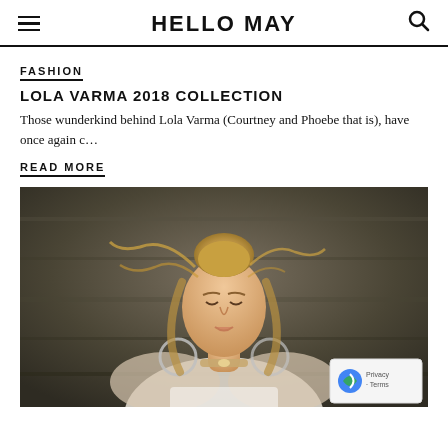HELLO MAY
FASHION
LOLA VARMA 2018 COLLECTION
Those wunderkind behind Lola Varma (Courtney and Phoebe that is), have once again c…
READ MORE
[Figure (photo): A blonde woman with hair in a bun, looking down, wearing a white lace top and large hoop earrings with a choker necklace, photographed against a dark background.]